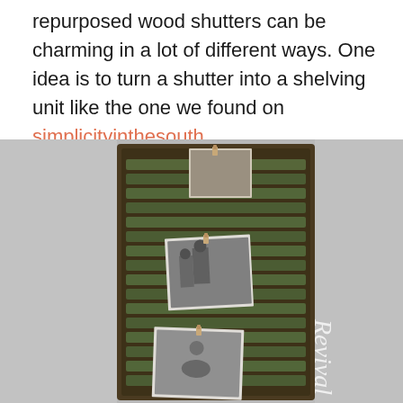repurposed wood shutters can be charming in a lot of different ways. One idea is to turn a shutter into a shelving unit like the one we found on simplicityinthesouth.
[Figure (photo): A rustic repurposed wooden shutter used as a photo display/shelving unit. The shutter, with green-brown distressed wood slats, leans against a grey wall. Two black and white photographs are clipped to the shutter slats with small wooden clothespins. The word 'Revival' appears in white text on the right side of the image.]